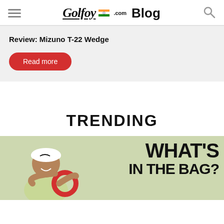Golfoy.com Blog
Review: Mizuno T-22 Wedge
Read more
TRENDING
[Figure (photo): Golf player in white Nike cap holding a red ring trophy with 'WHAT'S IN THE BAG?' text overlay on a light green background]